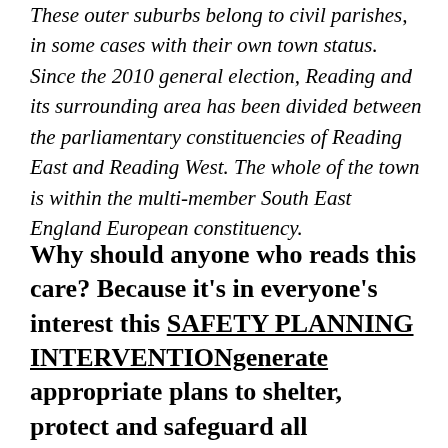These outer suburbs belong to civil parishes, in some cases with their own town status. Since the 2010 general election, Reading and its surrounding area has been divided between the parliamentary constituencies of Reading East and Reading West. The whole of the town is within the multi-member South East England European constituency.
Why should anyone who reads this care? Because it's in everyone's interest this SAFETY PLANNING INTERVENTIONgenerate appropriate plans to shelter, protect and safeguard all